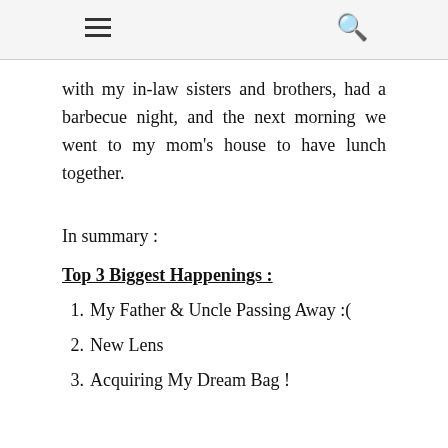[hamburger menu] [search icon]
with my in-law sisters and brothers, had a barbecue night, and the next morning we went to my mom's house to have lunch together.
In summary :
Top 3 Biggest Happenings :
1. My Father & Uncle Passing Away :(
2. New Lens
3. Acquiring My Dream Bag !